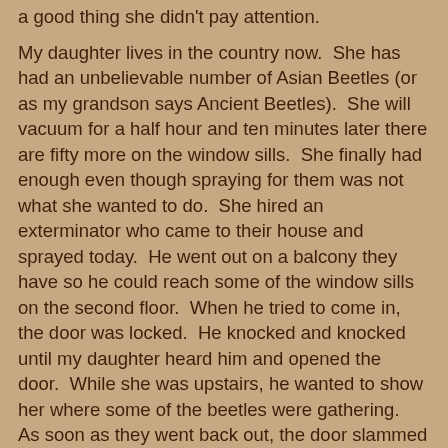a good thing she didn't pay attention.

My daughter lives in the country now.  She has had an unbelievable number of Asian Beetles (or as my grandson says Ancient Beetles).  She will vacuum for a half hour and ten minutes later there are fifty more on the window sills.  She finally had enough even though spraying for them was not what she wanted to do.  She hired an exterminator who came to their house and sprayed today.  He went out on a balcony they have so he could reach some of the window sills on the second floor.  When he tried to come in, the door was locked.  He knocked and knocked until my daughter heard him and opened the door.  While she was upstairs, he wanted to show her where some of the beetles were gathering.  As soon as they went back out, the door slammed shut.  There she was, locked out on a balcony with a strange man.  She was thinking about what to do and who to call, when she heard Piper.  She called to her and told her to come.  Yup, the dog opened the door for them.  The man called her a Hero Dog.  So in this case, Piper's stealth skills came in very handy.  You never know when you might need a dog that can pick a lock.